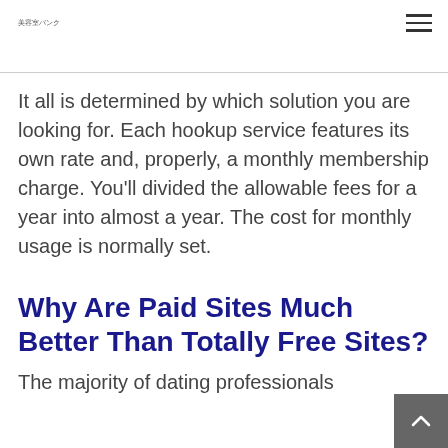美容室バンク
It all is determined by which solution you are looking for. Each hookup service features its own rate and, properly, a monthly membership charge. You'll divided the allowable fees for a year into almost a year. The cost for monthly usage is normally set.
Why Are Paid Sites Much Better Than Totally Free Sites?
The majority of dating professionals